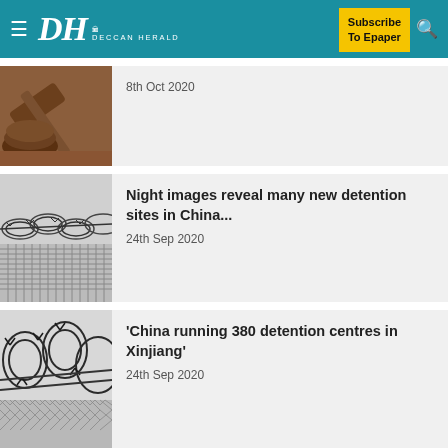DH DECCAN HERALD — Subscribe To Epaper
[Figure (photo): Partial view of a wooden gavel on a desk — article thumbnail]
8th Oct 2020
[Figure (photo): Barbed wire coils — thumbnail for detention sites article]
Night images reveal many new detention sites in China...
24th Sep 2020
[Figure (photo): Razor wire fence — thumbnail for China detention centres article]
'China running 380 detention centres in Xinjiang'
24th Sep 2020